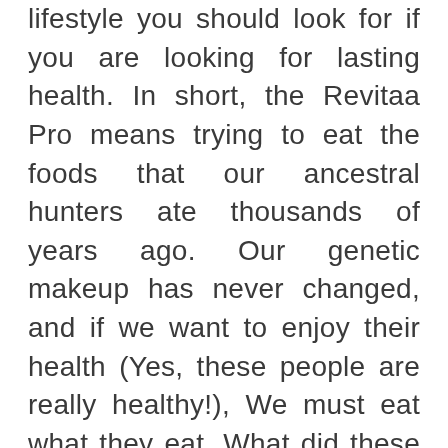lifestyle you should look for if you are looking for lasting health. In short, the Revitaa Pro means trying to eat the foods that our ancestral hunters ate thousands of years ago. Our genetic makeup has never changed, and if we want to enjoy their health (Yes, these people are really healthy!), We must eat what they eat. What did these people eat? Very simple: fruits, vegetables and fish or lean meats (Sometimes I suspect I ate eggs or honey as a special meal!). Does that mean we have to live like a cave? Not at all! Meals based on these foods can be as delicious and filling as meals prepared with regular meals.